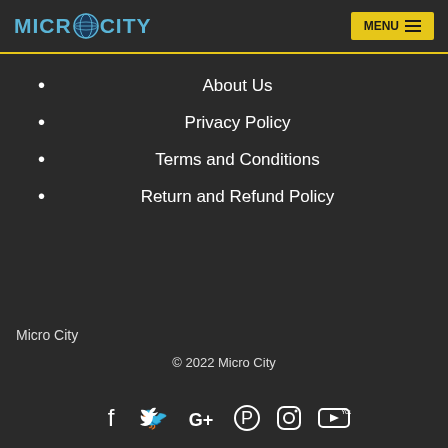MICRO CITY | MENU
About Us
Privacy Policy
Terms and Conditions
Return and Refund Policy
Micro City
© 2022 Micro City